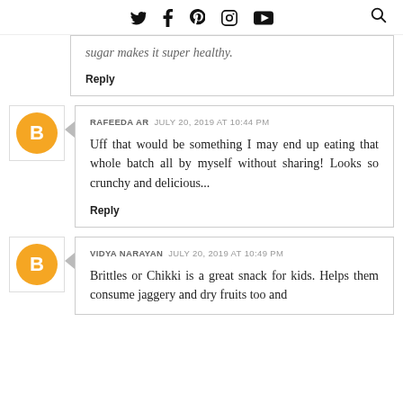Twitter Facebook Pinterest Instagram YouTube [search]
sugar makes it super healthy.
Reply
RAFEEDA AR  JULY 20, 2019 AT 10:44 PM
Uff that would be something I may end up eating that whole batch all by myself without sharing! Looks so crunchy and delicious...
Reply
VIDYA NARAYAN  JULY 20, 2019 AT 10:49 PM
Brittles or Chikki is a great snack for kids. Helps them consume jaggery and dry fruits too and